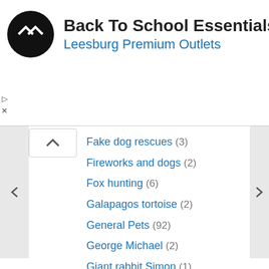[Figure (screenshot): Ad banner for Back To School Essentials at Leesburg Premium Outlets with logo and navigation icon]
Fake dog rescues (3)
Fireworks and dogs (2)
Fox hunting (6)
Galapagos tortoise (2)
General Pets (92)
George Michael (2)
Giant rabbit Simon (1)
Giraffes (12)
Heartwarming (1,239)
Hero dogs (150)
Horses (158)
Humane Society of the United States (13)
Hunting (105)